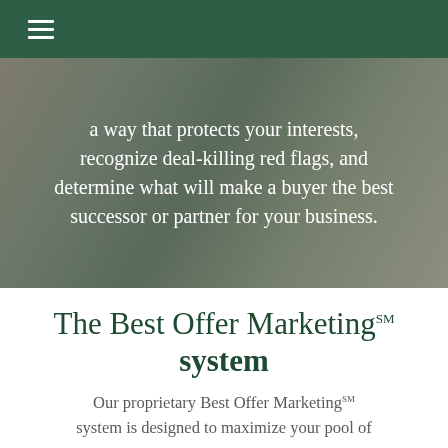Navigation bar with hamburger menu
a way that protects your interests, recognize deal-killing red flags, and determine what will make a buyer the best successor or partner for your business.
The Best Offer Marketing℠ system
Our proprietary Best Offer Marketing℠ system is designed to maximize your pool of